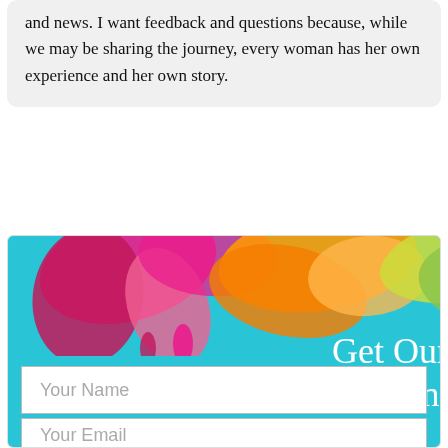and news. I want feedback and questions because, while we may be sharing the journey, every woman has her own experience and her own story.
[Figure (illustration): A promotional banner with colorful paint splashes (magenta, pink, orange, yellow, green) on a teal background. Text reads 'Get Our FRE... Coloring Boo...' with input fields for 'Your Name' and 'Your Email'.]